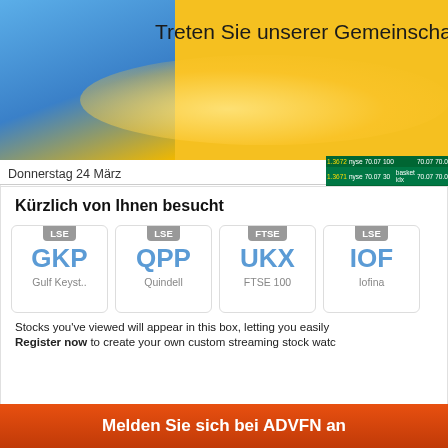[Figure (screenshot): ADVFN website banner with blue and yellow gradient background and text 'Treten Sie unserer Gemeinschaft bei']
Donnerstag 24 März
[Figure (table-as-image): Green stock trading table showing rows with values: 1.3672 nyse 70.07 100 / 70.07 70.06 15:43; 1.3671 nyse 70.07 30 basket idx 70.07 70.06 15:43; 1.3670 nyse 70.07 100 burst 70.07 70.06 15:43]
Streaming Now
Kürzlich von Ihnen besucht
GKP - Gulf Keyst.. (LSE)
QPP - Quindell (LSE)
UKX - FTSE 100 (FTSE)
IOF - Iofina (LSE)
Stocks you've viewed will appear in this box, letting you easily
Register now to create your own custom streaming stock watchlist
Melden Sie sich bei ADVFN an